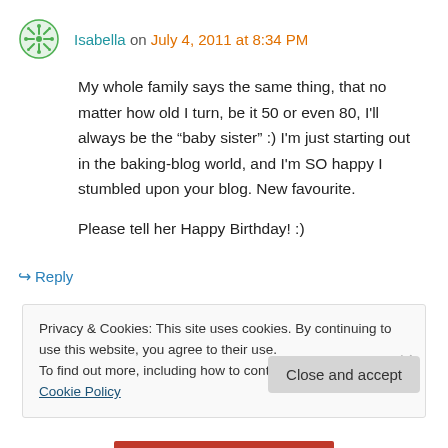Isabella on July 4, 2011 at 8:34 PM
My whole family says the same thing, that no matter how old I turn, be it 50 or even 80, I'll always be the “baby sister” :) I'm just starting out in the baking-blog world, and I'm SO happy I stumbled upon your blog. New favourite.

Please tell her Happy Birthday! :)
↳ Reply
Privacy & Cookies: This site uses cookies. By continuing to use this website, you agree to their use.
To find out more, including how to control cookies, see here: Cookie Policy
Close and accept